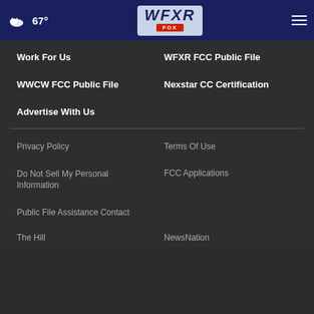67° WFXR FOX
Work For Us
WFXR FCC Public File
WWCW FCC Public File
Nexstar CC Certification
Advertise With Us
Privacy Policy
Terms Of Use
Do Not Sell My Personal Information
FCC Applications
Public File Assistance Contact
The Hill
NewsNation